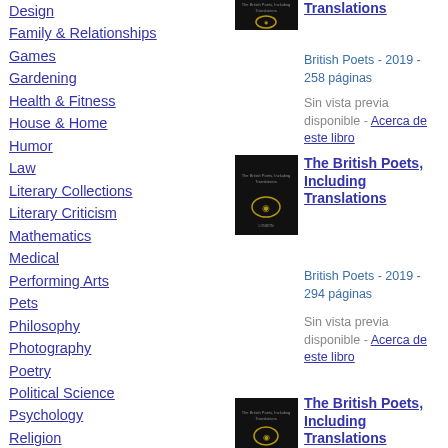Design
Family & Relationships
Games
Gardening
Health & Fitness
House & Home
Humor
Law
Literary Collections
Literary Criticism
Mathematics
Medical
Performing Arts
Pets
Philosophy
Photography
Poetry
Political Science
Psychology
Religion
Self-Help
Social Science
[Figure (illustration): Book cover for The British Poets, Including Translations (top, partially visible)]
The British Poets, Including Translations
British Poets - 2019 - 258 páginas
Sin vista previa disponible - Acerca de este libro
[Figure (illustration): Book cover for The British Poets, Including Translations (middle)]
The British Poets, Including Translations
British Poets - 2019 - 294 páginas
Sin vista previa disponible - Acerca de este libro
[Figure (illustration): Book cover for The British Poets, Including Translations (bottom)]
The British Poets, Including Translations